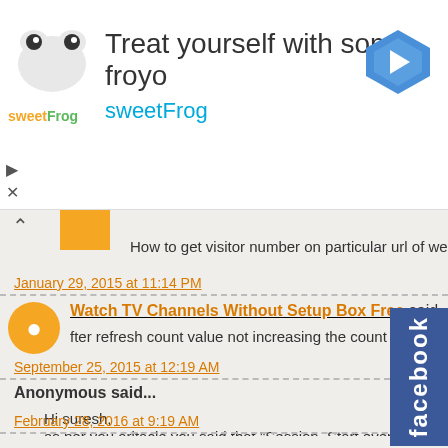[Figure (logo): sweetFrog advertisement banner with logo, text 'Treat yourself with some froyo' and navigation arrow icon]
How to get visitor number on particular url of website
January 29, 2015 at 11:14 PM
Watch TV Channels Without Setup Box Free said...
fter refresh count value not increasing the count always being 1 w
September 25, 2015 at 12:19 AM
Anonymous said...
Hi suresh,
as per you aritacle you said that "Session_Start event wil
every post back raise session start event. kindly correct my if I am
February 28, 2016 at 9:19 AM